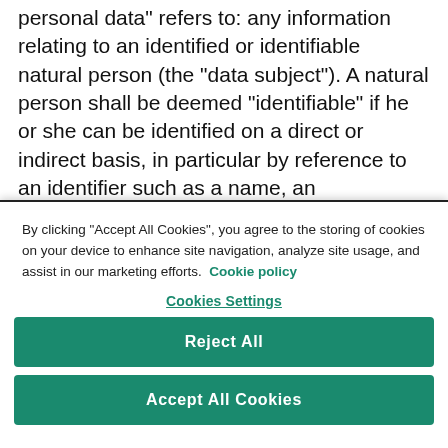personal data" refers to: any information relating to an identified or identifiable natural person (the “data subject”). A natural person shall be deemed “identifiable” if he or she can be identified on a direct or indirect basis, in particular by reference to an identifier such as a name, an identification number, location data, an online identifier or to one or more factors specific to the physical, physiological, genetic, mental, economic, cultural or social identity of that natural person. Hence, all information on the basis whereof a natural
By clicking “Accept All Cookies”, you agree to the storing of cookies on your device to enhance site navigation, analyze site usage, and assist in our marketing efforts. Cookie policy
Cookies Settings
Reject All
Accept All Cookies